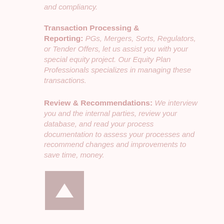and compliancy.
Transaction Processing & Reporting:
PGs, Mergers, Sorts, Regulators, or Tender Offers, let us assist you with your special equity project. Our Equity Plan Professionals specializes in managing these transactions.
Review & Recommendations:
We interview you and the internal parties, review your database, and read your process documentation to assess your processes and recommend changes and improvements to save time, money.
[Figure (other): An upward arrow button icon with light pink/rose background, indicating scroll to top or navigation upward.]